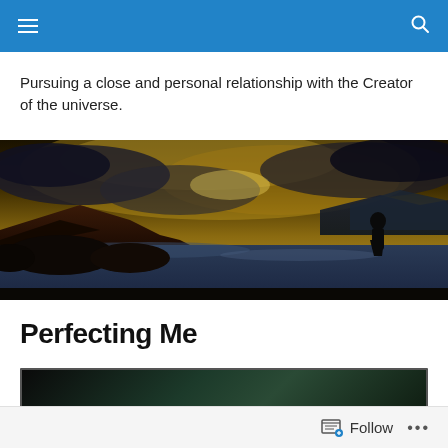Navigation bar with hamburger menu and search icon
Pursuing a close and personal relationship with the Creator of the universe.
[Figure (photo): Panoramic landscape photo showing a silhouette of a person standing by a lakeside with dramatic cloudy sky and mountains in background, with warm golden tones]
Perfecting Me
[Figure (photo): Partially visible dark-toned image, appears to be a video thumbnail with dark green background]
Follow ...